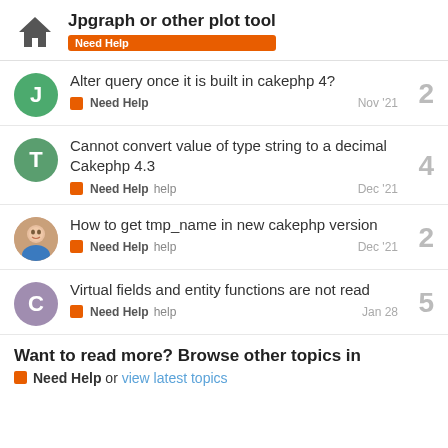Jpgraph or other plot tool — Need Help
Alter query once it is built in cakephp 4? — Need Help — Nov '21 — 2 replies
Cannot convert value of type string to a decimal Cakephp 4.3 — Need Help — help — Dec '21 — 4 replies
How to get tmp_name in new cakephp version — Need Help — help — Dec '21 — 2 replies
Virtual fields and entity functions are not read — Need Help — help — Jan 28 — 5 replies
Want to read more? Browse other topics in Need Help or view latest topics